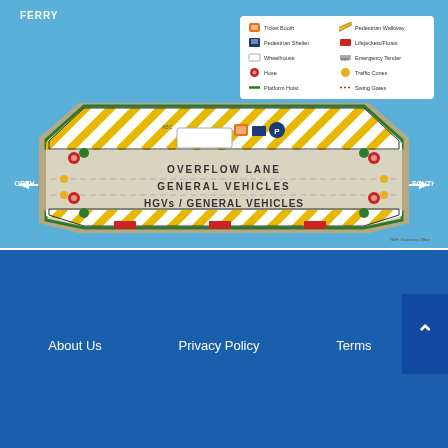[Figure (schematic): Ferry deck plan diagram showing OVERFLOW LANE, GENERAL VEHICLES, and HGVs / GENERAL VEHICLES lanes. North arrow points left, South arrow points right. Legend shows Ticket Booth, Pedestrian Shelter, Wheelhouse, Hose, Platform Hoist, Pedestrian Walkway, Lifejackets/Floats, Emergency Tender, Traffic Cones, Swing Gates.]
About Us   Privacy Policy   Terms